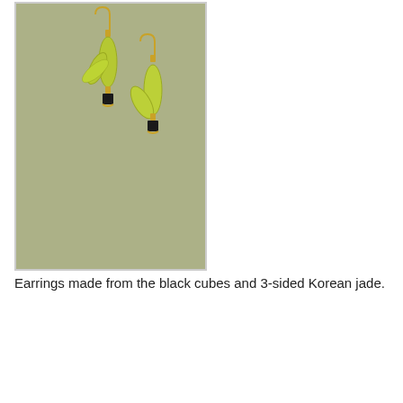[Figure (photo): Two dangling earrings with gold fish-hook wires, yellow-green 3-sided Korean jade elongated beads, and small black cube beads at the bottom, photographed on a grayish-green textured background.]
Earrings made from the black cubes and 3-sided Korean jade.